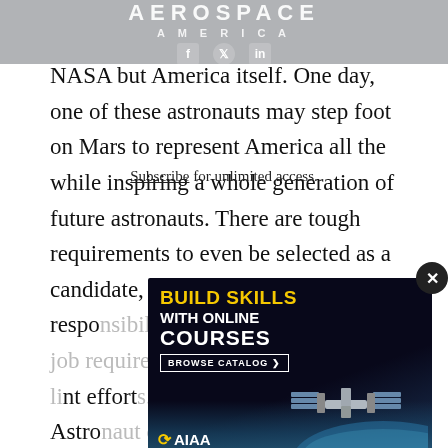AEROSPACE AMERICA
NASA but America itself. One day, one of these astronauts may step foot on Mars to represent America all the while inspiring a whole generation of future astronauts. There are tough requirements to even be selected as a candidate, and th[e training and] respo[nsibilities that go] along[side the job require] s to push s[tudents to their li]int effort[s. The continuous] each Astro[naut class builds o]n's advan[cements]
Subscribe for unlimited access.
[Figure (screenshot): AIAA advertisement overlay with dark background showing 'BUILD SKILLS WITH ONLINE COURSES' text in yellow and white, a 'BROWSE CATALOG >' button, an illustration of the International Space Station, and the AIAA logo. A close (X) button appears in the top right corner.]